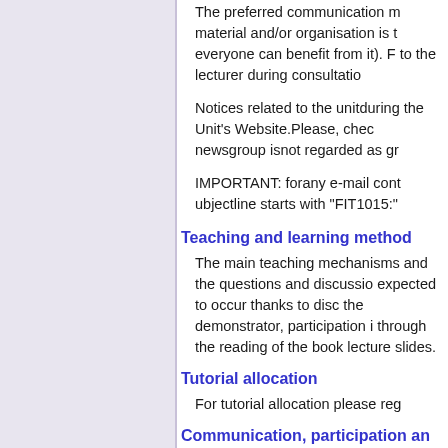The preferred communication m material and/or organisation is t everyone can benefit from it). F to the lecturer during consultatio
Notices related to the unitduring the Unit's Website.Please, chec newsgroup isnot regarded as gr
IMPORTANT: forany e-mail cont ubjectline starts with "FIT1015:"
Teaching and learning method
The main teaching mechanisms and the questions and discussio expected to occur thanks to disc the demonstrator, participation i through the reading of the book lecture slides.
Tutorial allocation
For tutorial allocation please reg
Communication, participation an